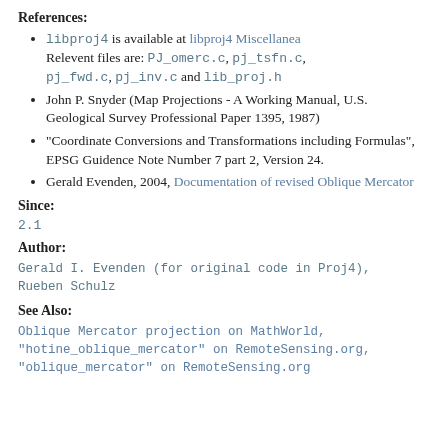References:
libproj4 is available at libproj4 Miscellanea Relevent files are: PJ_omerc.c, pj_tsfn.c, pj_fwd.c, pj_inv.c and lib_proj.h
John P. Snyder (Map Projections - A Working Manual, U.S. Geological Survey Professional Paper 1395, 1987)
"Coordinate Conversions and Transformations including Formulas", EPSG Guidence Note Number 7 part 2, Version 24.
Gerald Evenden, 2004, Documentation of revised Oblique Mercator
Since:
2.1
Author:
Gerald I. Evenden (for original code in Proj4), Rueben Schulz
See Also:
Oblique Mercator projection on MathWorld, "hotine_oblique_mercator" on RemoteSensing.org, "oblique_mercator" on RemoteSensing.org